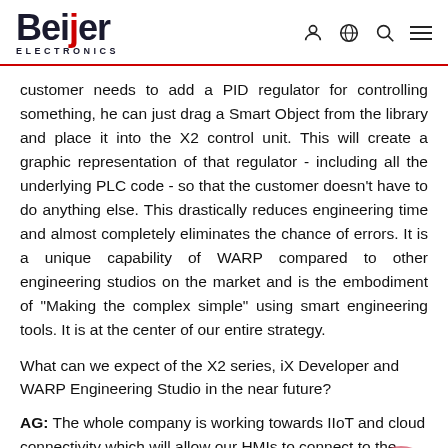Beijer Electronics
customer needs to add a PID regulator for controlling something, he can just drag a Smart Object from the library and place it into the X2 control unit. This will create a graphic representation of that regulator - including all the underlying PLC code - so that the customer doesn't have to do anything else. This drastically reduces engineering time and almost completely eliminates the chance of errors. It is a unique capability of WARP compared to other engineering studios on the market and is the embodiment of "Making the complex simple" using smart engineering tools. It is at the center of our entire strategy.
What can we expect of the X2 series, iX Developer and WARP Engineering Studio in the near future?
AG: The whole company is working towards IIoT and cloud connectivity which will allow our HMIs to connect to the cloud. The ultimate goal is for us to be able to configure and